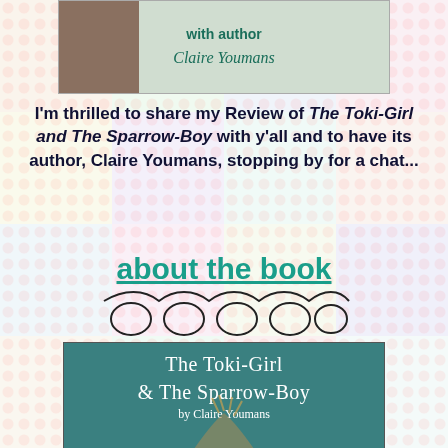[Figure (photo): Top banner image with author Claire Youmans, showing text 'with author Claire Youmans' over a photo]
I'm thrilled to share my Review of The Toki-Girl and The Sparrow-Boy with y'all and to have its author, Claire Youmans, stopping by for a chat...
about the book
[Figure (illustration): Decorative swirl/loop ornament divider]
[Figure (photo): Book cover: The Toki-Girl & The Sparrow-Boy by Claire Youmans — teal background with a feral-looking girl with wild feathered hair]